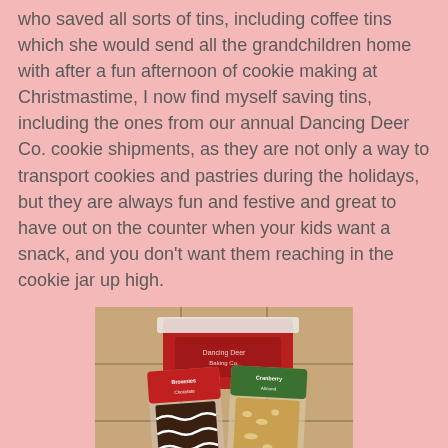who saved all sorts of tins, including coffee tins which she would send all the grandchildren home with after a fun afternoon of cookie making at Christmastime, I now find myself saving tins, including the ones from our annual Dancing Deer Co. cookie shipments, as they are not only a way to transport cookies and pastries during the holidays, but they are always fun and festive and great to have out on the counter when your kids want a snack, and you don't want them reaching in the cookie jar up high.
[Figure (photo): A photo showing a red Dancing Deer Co. tin cookie box and two individually wrapped cookie/brownie products placed in front of it on a tiled surface. The left product appears to be a chocolate brownie with white zigzag drizzle, and the right product appears to be a lighter colored bar cookie, both in clear plastic packaging with branded labels.]
When it comes to brownies, I am usually one who gravitates